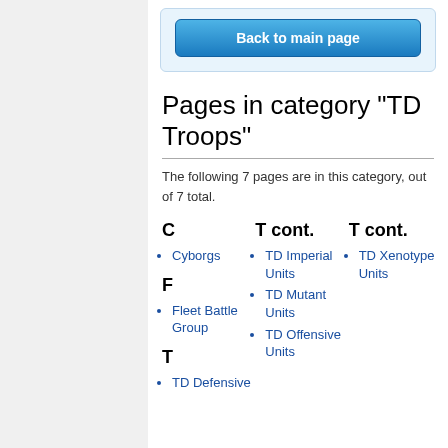[Figure (other): Blue 'Back to main page' button inside a light blue bordered box]
Pages in category "TD Troops"
The following 7 pages are in this category, out of 7 total.
C
Cyborgs
F
Fleet Battle Group
T
TD Defensive
T cont.
TD Imperial Units
TD Mutant Units
TD Offensive Units
T cont.
TD Xenotype Units